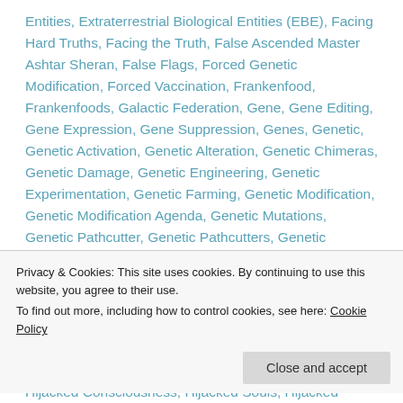Entities, Extraterrestrial Biological Entities (EBE), Facing Hard Truths, Facing the Truth, False Ascended Master Ashtar Sheran, False Flags, Forced Genetic Modification, Forced Vaccination, Frankenfood, Frankenfoods, Galactic Federation, Gene, Gene Editing, Gene Expression, Gene Suppression, Genes, Genetic, Genetic Activation, Genetic Alteration, Genetic Chimeras, Genetic Damage, Genetic Engineering, Genetic Experimentation, Genetic Farming, Genetic Modification, Genetic Modification Agenda, Genetic Mutations, Genetic Pathcutter, Genetic Pathcutters, Genetic Pathcutting, Genetic Record, Genetic Repair, Genetic Switches, Genetic Tampering, Genetically Modified Humans, Genetically Modified Humans
Privacy & Cookies: This site uses cookies. By continuing to use this website, you agree to their use.
To find out more, including how to control cookies, see here: Cookie Policy
Hijacked Consciousness, Hijacked Souls, Hijacked Timelines,